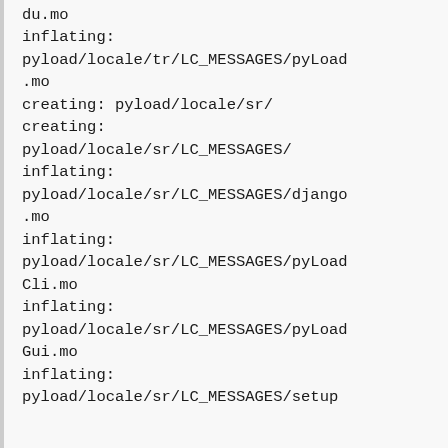du.mo
inflating:
pyload/locale/tr/LC_MESSAGES/pyLoad.mo
creating: pyload/locale/sr/
creating:
pyload/locale/sr/LC_MESSAGES/
inflating:
pyload/locale/sr/LC_MESSAGES/django.mo
inflating:
pyload/locale/sr/LC_MESSAGES/pyLoadCli.mo
inflating:
pyload/locale/sr/LC_MESSAGES/pyLoadGui.mo
inflating:
pyload/locale/sr/LC_MESSAGES/setup